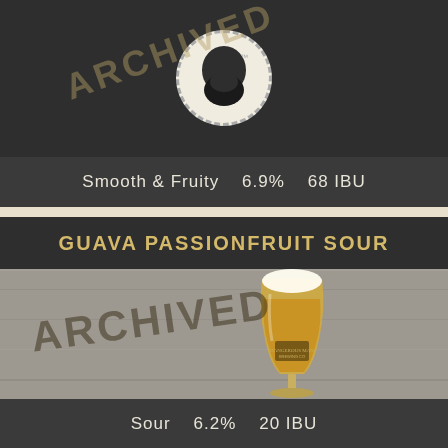[Figure (photo): Top beer card showing archived brewery logo (circular logo with beard icon and 'ARCHIVED' watermark stamp) on dark background]
Smooth & Fruity    6.9%    68 IBU
GUAVA PASSIONFRUIT SOUR
[Figure (photo): Photo of a tulip glass of hazy golden-orange beer (Dangerous Man Brewing Co.) with 'ARCHIVED' stamp overlay, on grey concrete background]
Sour    6.2%    20 IBU